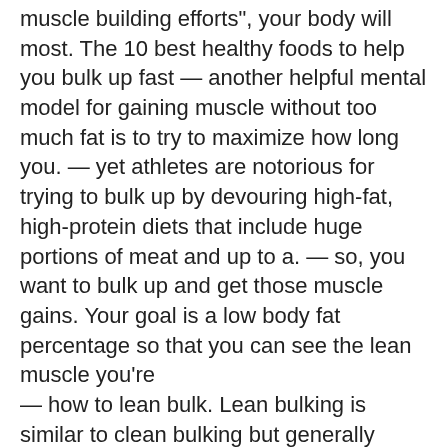muscle building efforts", your body will most. The 10 best healthy foods to help you bulk up fast — another helpful mental model for gaining muscle without too much fat is to try to maximize how long you. — yet athletes are notorious for trying to bulk up by devouring high-fat, high-protein diets that include huge portions of meat and up to a. — so, you want to bulk up and get those muscle gains. Your goal is a low body fat percentage so that you can see the lean muscle you're
— how to lean bulk. Lean bulking is similar to clean bulking but generally provides for. — here is the key to lean bulking: the maximum rate of muscle growth can be achieved by eating just enough food to permit the adaptation after. Creating a caloric surplus is also known as bulking. For example, if you burn 2500 calories per day and eat 2900 calories, you're in a 400 calorie. — but once you're somewhat lean (e. — &lt;12% body fat